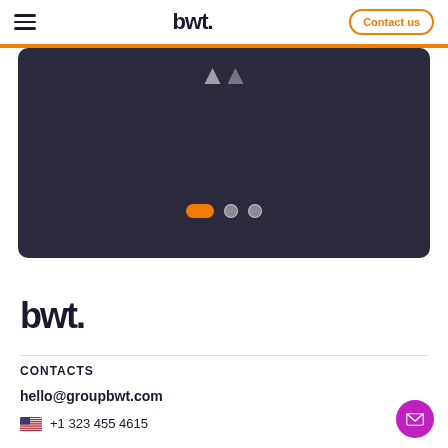bwt  Contact us
[Figure (screenshot): Dark slate carousel/slider UI element with white arrow chevrons at top center and pagination dots (orange pill active, two grey circles inactive) at bottom center]
[Figure (logo): BWT logo in large black text]
CONTACTS
hello@groupbwt.com
+1 323 455 4615